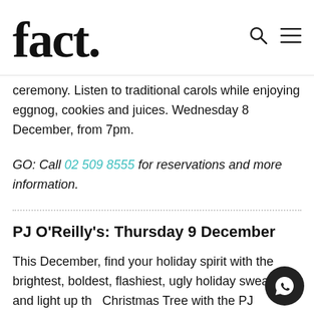fact.
ceremony. Listen to traditional carols while enjoying eggnog, cookies and juices. Wednesday 8 December, from 7pm.
GO: Call 02 509 8555 for reservations and more information.
PJ O’Reilly’s: Thursday 9 December
This December, find your holiday spirit with the brightest, boldest, flashiest, ugly holiday sweater and light up the Christmas Tree with the PJ O’Reilly’s tree lighting bru… Thursday 9 December, from 7pm to 10pm. AED 149 (soft